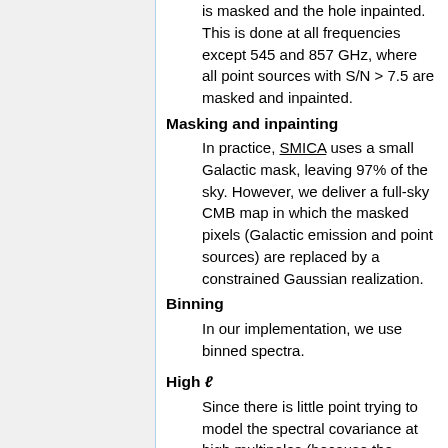is masked and the hole inpainted. This is done at all frequencies except 545 and 857 GHz, where all point sources with S/N > 7.5 are masked and inpainted.
Masking and inpainting
In practice, SMICA uses a small Galactic mask, leaving 97% of the sky. However, we deliver a full-sky CMB map in which the masked pixels (Galactic emission and point sources) are replaced by a constrained Gaussian realization.
Binning
In our implementation, we use binned spectra.
High ℓ
Since there is little point trying to model the spectral covariance at high multipoles (because the sample